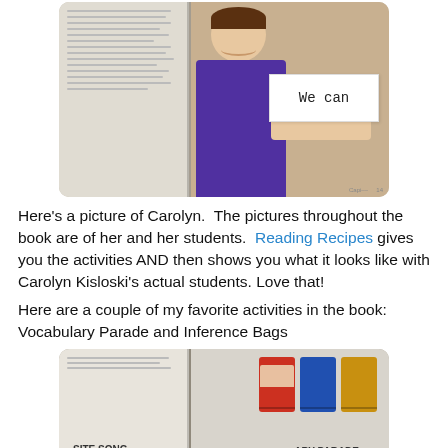[Figure (photo): Photo of a woman (Carolyn) holding a white card that says 'We can', alongside an open book page, displayed in a rounded rectangular frame.]
Here's a picture of Carolyn.  The pictures throughout the book are of her and her students.  Reading Recipes gives you the activities AND then shows you what it looks like with Carolyn Kisloski's actual students. Love that!
Here are a couple of my favorite activities in the book: Vocabulary Parade and Inference Bags
[Figure (photo): Photo of an open book showing pages with 'SITE SONG' on the left and 'ARY PARADE' (Vocabulary Parade) on the right, along with student photo cards in red, blue, and yellow.]